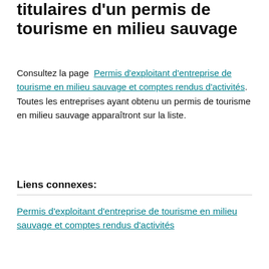titulaires d'un permis de tourisme en milieu sauvage
Consultez la page Permis d'exploitant d'entreprise de tourisme en milieu sauvage et comptes rendus d'activités. Toutes les entreprises ayant obtenu un permis de tourisme en milieu sauvage apparaîtront sur la liste.
Liens connexes:
Permis d'exploitant d'entreprise de tourisme en milieu sauvage et comptes rendus d'activités